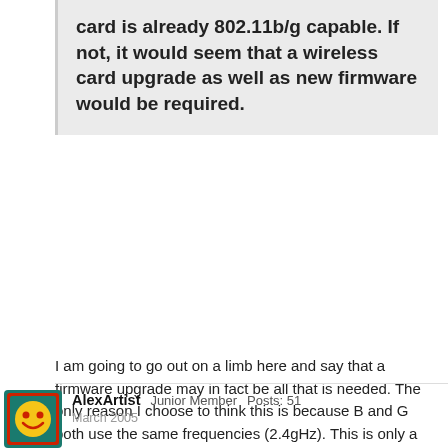card is already 802.11b/g capable. If not, it would seem that a wireless card upgrade as well as new firmware would be required.
I am going to go out on a limb here and say that a firmware upgrade may in fact be all that is needed. The only reason I choose to think this is because B and G both use the same frequencies (2.4gHz). This is only a guess of course 😉

Jeff
[Figure (illustration): User avatar: smiley face icon with yellow face on teal/green background with red border]
AlexArtist  Junior Member  Posts: 51
March 2005